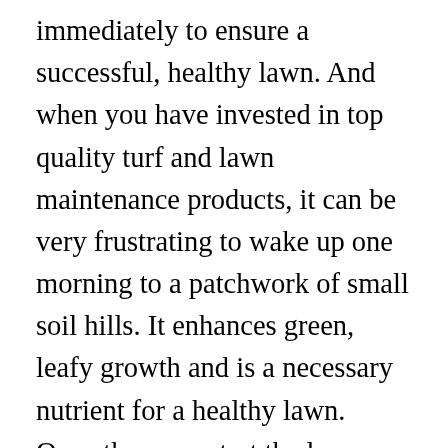immediately to ensure a successful, healthy lawn. And when you have invested in top quality turf and lawn maintenance products, it can be very frustrating to wake up one morning to a patchwork of small soil hills. It enhances green, leafy growth and is a necessary nutrient for a healthy lawn. Once they are, start the lawn on a treatment of a new-lawn starter fertilizer. Remedy: Pull back a section of sod and inspect for fat, white curved worms. Some common problems are: Grass in the shade? Back. This year was a very bad year for white grubs. It is essential to keep newly installed sod wet the first week. Washington State University recommends early morning watering, which allows soil and grass blades to